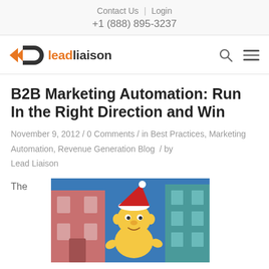Contact Us | Login
+1 (888) 895-3237
[Figure (logo): Lead Liaison logo with orange arrow icons and stylized 'D' icon, followed by 'leadliaison' text in orange and dark gray, with search and hamburger menu icons on the right]
B2B Marketing Automation: Run In the Right Direction and Win
November 9, 2012 / 0 Comments / in Best Practices, Marketing Automation, Revenue Generation Blog / by Lead Liaison
The
[Figure (illustration): Illustration of Homer Simpson character in a Santa hat running past colorful buildings]